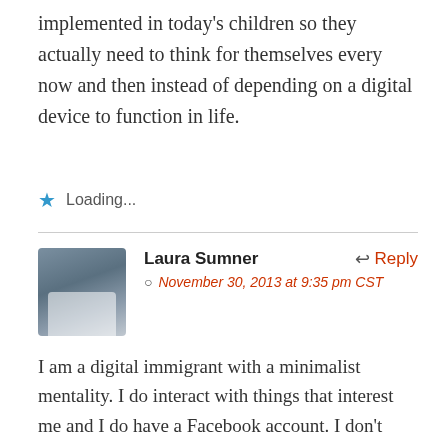implemented in today's children so they actually need to think for themselves every now and then instead of depending on a digital device to function in life.
★ Loading...
Laura Sumner
Reply
November 30, 2013 at 9:35 pm CST
[Figure (photo): Profile photo of Laura Sumner, a woman with blonde hair wearing a light-colored top, outdoors.]
I am a digital immigrant with a minimalist mentality. I do interact with things that interest me and I do have a Facebook account. I don't post much on social medias, I mainly search the websites. Some of my family members are digital dinosaurs, and some are digital generation. My parents do